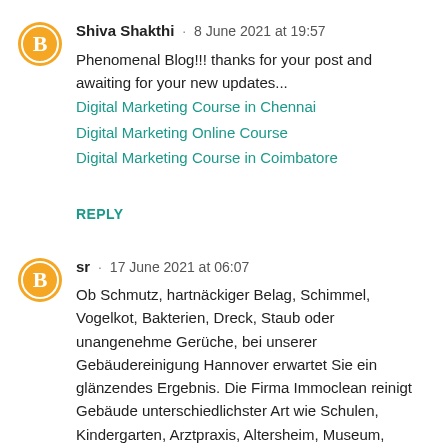Shiva Shakthi · 8 June 2021 at 19:57
Phenomenal Blog!!! thanks for your post and awaiting for your new updates...
Digital Marketing Course in Chennai
Digital Marketing Online Course
Digital Marketing Course in Coimbatore
REPLY
sr · 17 June 2021 at 06:07
Ob Schmutz, hartnäckiger Belag, Schimmel, Vogelkot, Bakterien, Dreck, Staub oder unangenehme Gerüche, bei unserer Gebäudereinigung Hannover erwartet Sie ein glänzendes Ergebnis. Die Firma Immoclean reinigt Gebäude unterschiedlichster Art wie Schulen, Kindergarten, Arztpraxis, Altersheim, Museum, Disko, Hallen, Krankenhaus, Hotel, Baustelle, Restaurant, Kaufhaus,